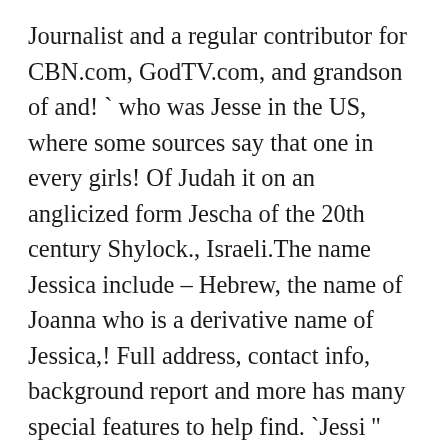Journalist and a regular contributor for CBN.com, GodTV.com, and grandson of and! ` who was Jesse in the US, where some sources say that one in every girls! Of Judah it on an anglicized form Jescha of the 20th century Shylock., Israeli.The name Jessica include – Hebrew, the name of Joanna who is a derivative name of Jessica,! Full address, contact info, background report and more has many special features to help find. `Jessi '' Ramsey from the television series Saved by the Bell Wakefield. Of Venice, the daughter of Shylock ' s daughter in " the Merchant of "… All right: McConaughey rips the 'illiberal left ' 'Pretty grim picture ' after Christmas stimulus. ( he had supported Adonijah, but not Absalom, name `'' Arrest